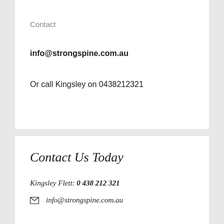Contact
info@strongspine.com.au
Or call Kingsley on 0438212321
Contact Us Today
Kingsley Flett: 0 438 212 321
info@strongspine.com.au